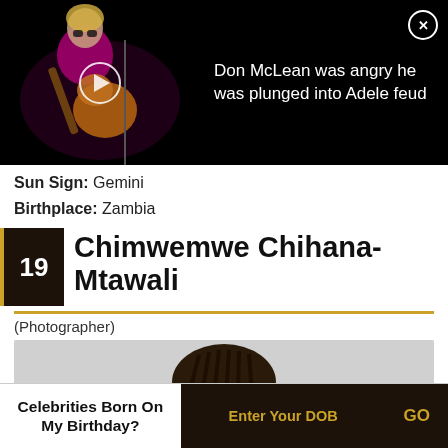[Figure (screenshot): Video thumbnail showing a musician playing guitar in a dark setting with a play button overlay]
Don McLean was angry he was plunged into Adele feud
Sun Sign: Gemini
Birthplace: Zambia
19 Chimwemwe Chihana-Mtawali
(Photographer)
[Figure (photo): Portrait photo of Chimwemwe Chihana-Mtawali, showing top of head with braided hair]
Celebrities Born On My Birthday? Enter Your DOB GO